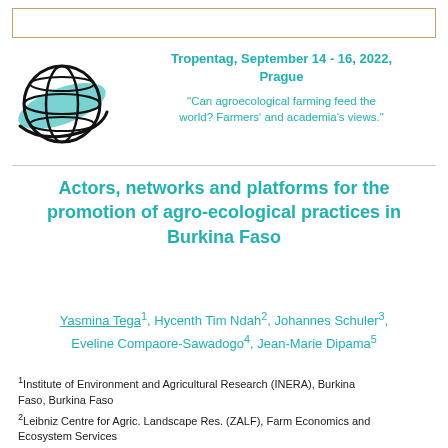[Figure (logo): Tropentag globe logo with teal swoosh and black grid lines]
Tropentag, September 14 - 16, 2022, Prague
"Can agroecological farming feed the world? Farmers' and academia's views."
Actors, networks and platforms for the promotion of agro-ecological practices in Burkina Faso
Yasmina Tega1, Hycenth Tim Ndah2, Johannes Schuler3, Eveline Compaore-Sawadogo4, Jean-Marie Dipama5
1Institute of Environment and Agricultural Research (INERA), Burkina Faso, Burkina Faso
2Leibniz Centre for Agric. Landscape Res. (ZALF), Farm Economics and Ecosystem Services